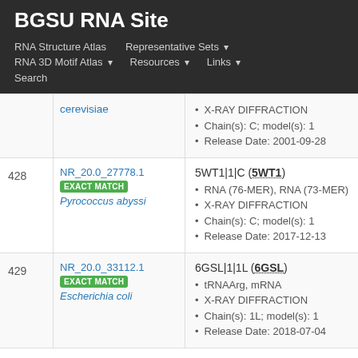BGSU RNA Site
RNA Structure Atlas | Representative Sets ▾ | RNA 3D Motif Atlas ▾ | Resources ▾ | Links ▾ | Search
| # | ID | Details |
| --- | --- | --- |
|  | cerevisiae | X-RAY DIFFRACTION
Chain(s): C; model(s): 1
Release Date: 2001-09-28 |
| 428 | NR_20.0_27778.1
EXACT MATCH
Pyrococcus abyssi | 5WT1|1|C (5WT1)
RNA (76-MER), RNA (73-MER)
X-RAY DIFFRACTION
Chain(s): C; model(s): 1
Release Date: 2017-12-13 |
| 429 | NR_20.0_33112.1
EXACT MATCH
Escherichia coli | 6GSL|1|1L (6GSL)
tRNAArg, mRNA
X-RAY DIFFRACTION
Chain(s): 1L; model(s): 1
Release Date: 2018-07-04 |